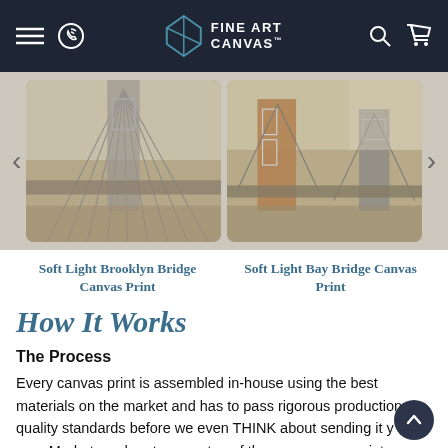Fine Art Canvas — navigation bar with menu, phone, logo, search, cart
[Figure (photo): Carousel showing two canvas prints: Soft Light Brooklyn Bridge Canvas Print (left) and Soft Light Bay Bridge Canvas Print (right), with left and right navigation arrows]
Soft Light Brooklyn Bridge Canvas Print
Soft Light Bay Bridge Canvas Print
How It Works
The Process
Every canvas print is assembled in-house using the best materials on the market and has to pass rigorous production quality standards before we even THINK about sending it your way. Made-to-order at every step of the process, our prints feature durable construction and custom frames for and an